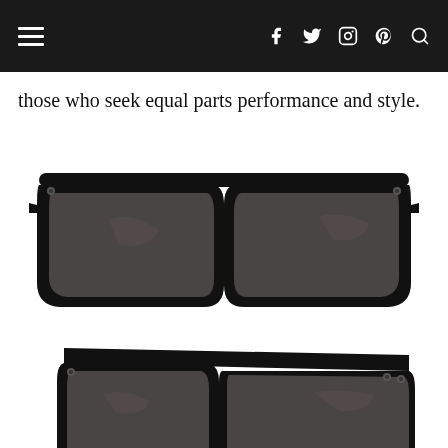Navigation bar with hamburger menu and social icons (Facebook, Twitter, Instagram, Pinterest, Search)
those who seek equal parts performance and style.
[Figure (photo): Front-facing view of black Oakley Holbrook sunglasses with dark gray lenses and black frame]
[Figure (photo): Three-quarter angle view of black Oakley Holbrook sunglasses with dark gray lenses, showing Oakley logo on temple]